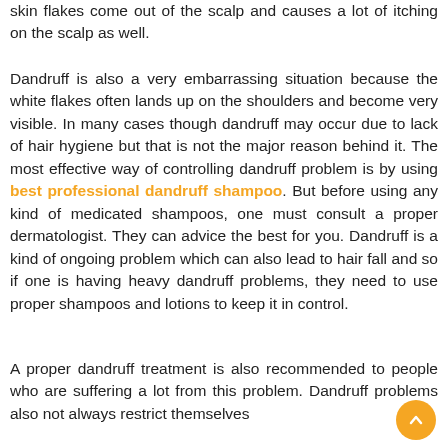skin flakes come out of the scalp and causes a lot of itching on the scalp as well.
Dandruff is also a very embarrassing situation because the white flakes often lands up on the shoulders and become very visible. In many cases though dandruff may occur due to lack of hair hygiene but that is not the major reason behind it. The most effective way of controlling dandruff problem is by using best professional dandruff shampoo. But before using any kind of medicated shampoos, one must consult a proper dermatologist. They can advice the best for you. Dandruff is a kind of ongoing problem which can also lead to hair fall and so if one is having heavy dandruff problems, they need to use proper shampoos and lotions to keep it in control.
A proper dandruff treatment is also recommended to people who are suffering a lot from this problem. Dandruff problems also not always restrict themselves